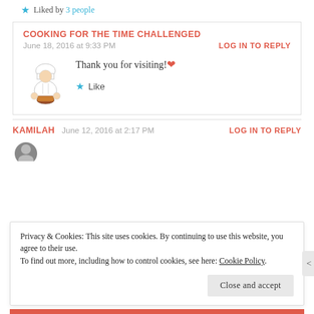★ Liked by 3 people
COOKING FOR THE TIME CHALLENGED
June 18, 2016 at 9:33 PM
LOG IN TO REPLY
[Figure (illustration): Cartoon chef illustration]
Thank you for visiting! ❤
★ Like
KAMILAH   June 12, 2016 at 2:17 PM   LOG IN TO REPLY
Privacy & Cookies: This site uses cookies. By continuing to use this website, you agree to their use. To find out more, including how to control cookies, see here: Cookie Policy
Close and accept